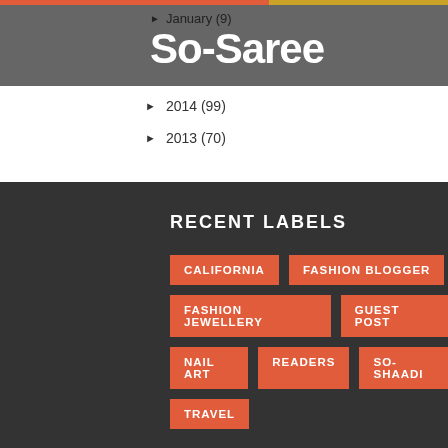▶ January (9)
So-Saree
▶ 2014 (99)
▶ 2013 (70)
RECENT LABELS
CALIFORNIA
FASHION BLOGGER
FASHION JEWELLERY
GUEST POST
NAIL ART
READERS
SO-SHAADI
TRAVEL